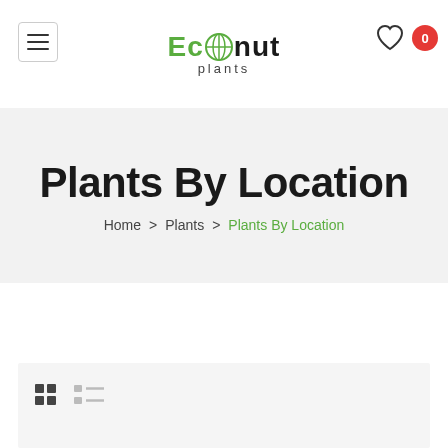[Figure (logo): Econut plants logo with green globe icon]
[Figure (other): Hamburger menu button (three lines) in bordered square]
[Figure (other): Heart/wishlist icon with red badge showing 0]
Plants By Location
Home  >  Plants  >  Plants By Location
[Figure (other): Grid view and list view toggle icons]